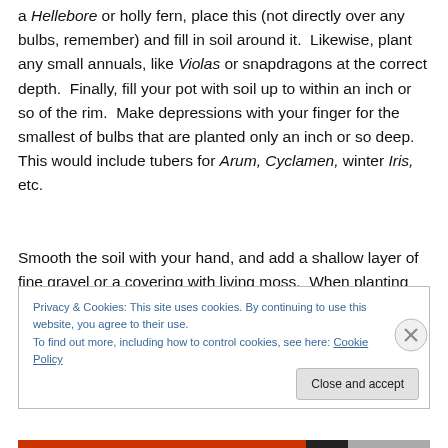a Hellebore or holly fern, place this (not directly over any bulbs, remember) and fill in soil around it.  Likewise, plant any small annuals, like Violas or snapdragons at the correct depth.  Finally, fill your pot with soil up to within an inch or so of the rim.  Make depressions with your finger for the smallest of bulbs that are planted only an inch or so deep.  This would include tubers for Arum, Cyclamen, winter Iris, etc.
Smooth the soil with your hand, and add a shallow layer of fine gravel or a covering with living moss.  When planting
Privacy & Cookies: This site uses cookies. By continuing to use this website, you agree to their use.
To find out more, including how to control cookies, see here: Cookie Policy